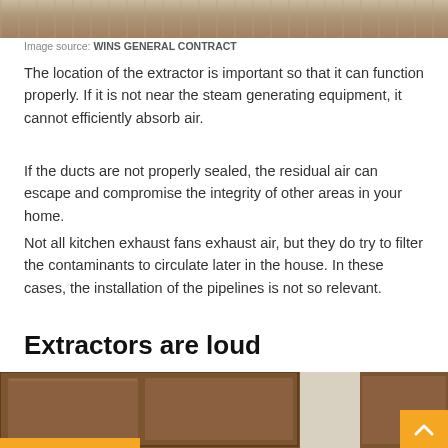[Figure (photo): Top portion of a photo showing wooden kitchen cabinetry or furniture]
Image source: WINS GENERAL CONTRACT
The location of the extractor is important so that it can function properly. If it is not near the steam generating equipment, it cannot efficiently absorb air.
If the ducts are not properly sealed, the residual air can escape and compromise the integrity of other areas in your home.
Not all kitchen exhaust fans exhaust air, but they do try to filter the contaminants to circulate later in the house. In these cases, the installation of the pipelines is not so relevant.
Extractors are loud
[Figure (photo): Photo of dark wooden kitchen cabinets/furniture in a room with white ceiling and window visible in background]